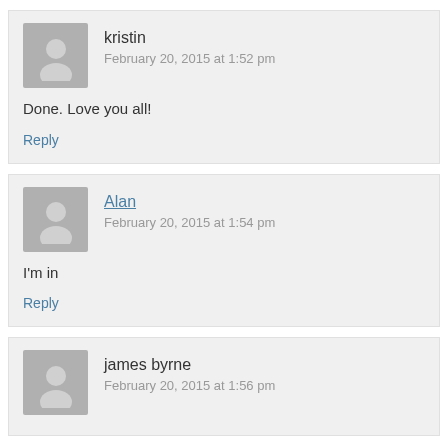kristin
February 20, 2015 at 1:52 pm
Done. Love you all!
Reply
Alan
February 20, 2015 at 1:54 pm
I'm in
Reply
james byrne
February 20, 2015 at 1:56 pm